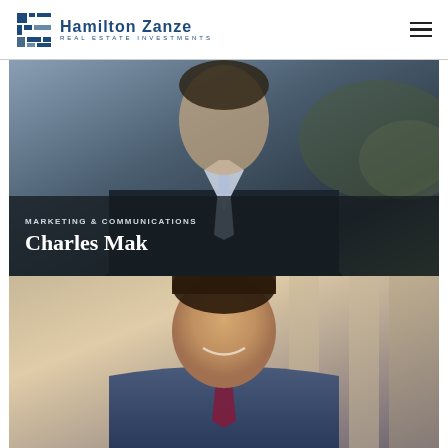[Figure (logo): Hamilton Zanze Real Estate Investments logo with blue grid icon and company name]
[Figure (photo): Professional headshot of a man in a dark suit with light blue tie, on dark overlay background with label 'Marketing & Communications, Charles Mak']
MARKETING & COMMUNICATIONS
Charles Mak
[Figure (photo): Professional headshot of a smiling young man in a grey suit with burgundy/purple tie, outdoor background]